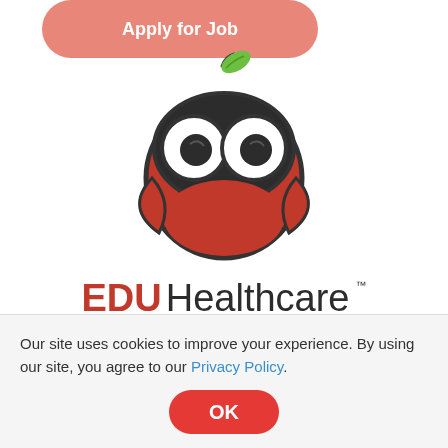[Figure (logo): EDU Healthcare logo: an owl-apple hybrid mascot with big round glasses eyes, red apple body, green leaf on top, dark gray outline. Text reads 'EDU Healthcare' with EDU in bold red and Healthcare in dark gray, with a TM superscript.]
Contact
EDU Healthcare Recruiting
Our site uses cookies to improve your experience. By using our site, you agree to our Privacy Policy.
OK